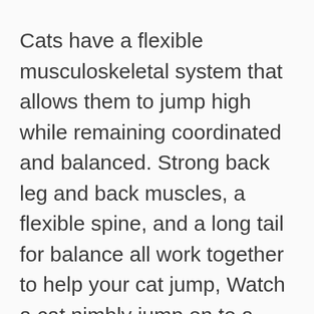Cats have a flexible musculoskeletal system that allows them to jump high while remaining coordinated and balanced. Strong back leg and back muscles, a flexible spine, and a long tail for balance all work together to help your cat jump, Watch a cat nimbly jump on to a ledge without wobbling and you will see evidence of this system at work.